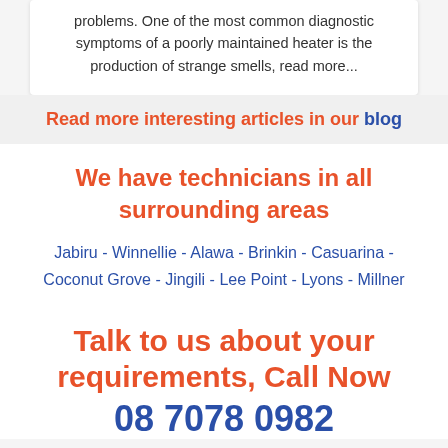problems. One of the most common diagnostic symptoms of a poorly maintained heater is the production of strange smells, read more...
Read more interesting articles in our blog
We have technicians in all surrounding areas
Jabiru - Winnellie - Alawa - Brinkin - Casuarina - Coconut Grove - Jingili - Lee Point - Lyons - Millner
Talk to us about your requirements, Call Now 08 7078 0982